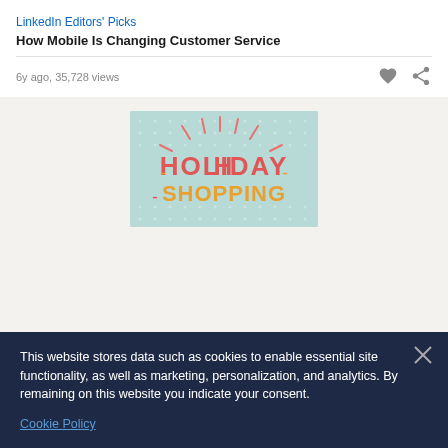LinkedIn Editors' Picks
How Mobile Is Changing Customer Service
6y ago, 35,728 views
[Figure (illustration): Holiday Shopping illustration with colorful letters on a light teal/mint dotted background]
This website stores data such as cookies to enable essential site functionality, as well as marketing, personalization, and analytics. By remaining on this website you indicate your consent.
Cookie Policy